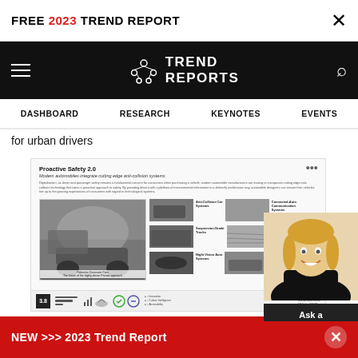FREE 2023 TREND REPORT ×
[Figure (screenshot): Trend Reports website navigation bar with hamburger menu, Trend Reports logo with molecule icon, and search icon on black background]
DASHBOARD  RESEARCH  KEYNOTES  EVENTS
for urban drivers
[Figure (screenshot): Proactive Safety 2.0 trend report page showing Modern automobiles integrate cutting edge anti-collision systems with car images and report grid]
[Figure (photo): Woman with blonde hair smiling, Ask a Question chat widget]
NEW >>> 2023 Trend Report ×